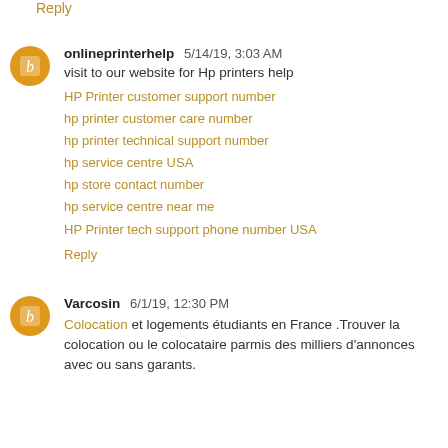Reply
onlineprinterhelp 5/14/19, 3:03 AM
visit to our website for Hp printers help
HP Printer customer support number
hp printer customer care number
hp printer technical support number
hp service centre USA
hp store contact number
hp service centre near me
HP Printer tech support phone number USA
Reply
Varcosin 6/1/19, 12:30 PM
Colocation et logements étudiants en France .Trouver la colocation ou le colocataire parmis des milliers d'annonces avec ou sans garants.